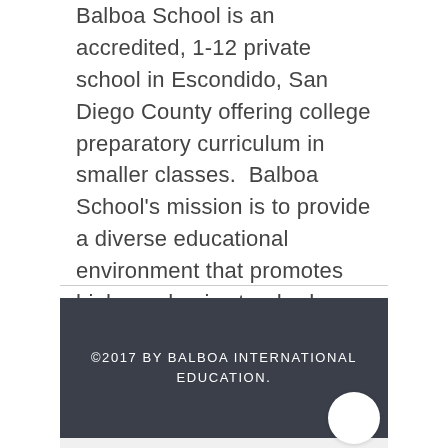Balboa School is an accredited, 1-12 private school in Escondido, San Diego County offering college preparatory curriculum in smaller classes.  Balboa School's mission is to provide a diverse educational environment that promotes high academic standards, cultivates creativity, and builds the social skills necessary for college, career and civic life.
©2017 BY BALBOA INTERNATIONAL EDUCATION.